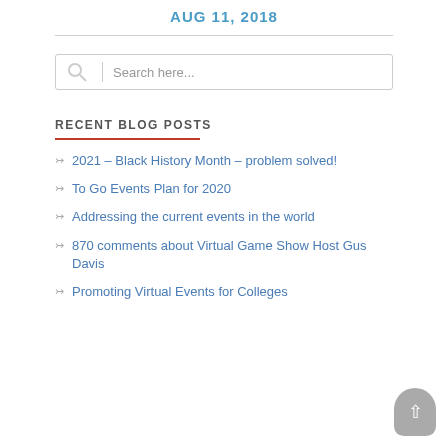AUG 11, 2018
[Figure (other): Search bar with magnifying glass icon and placeholder text 'Search here...']
RECENT BLOG POSTS
2021 – Black History Month – problem solved!
To Go Events Plan for 2020
Addressing the current events in the world
870 comments about Virtual Game Show Host Gus Davis
Promoting Virtual Events for Colleges